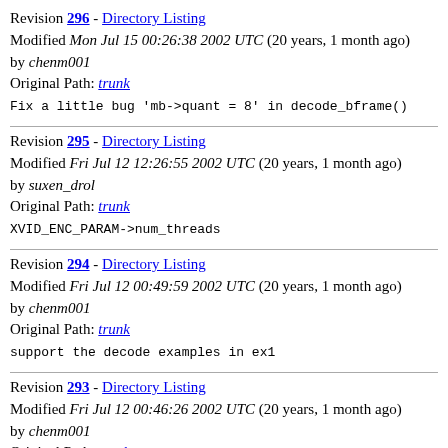Revision 296 - Directory Listing
Modified Mon Jul 15 00:26:38 2002 UTC (20 years, 1 month ago) by chenm001
Original Path: trunk
Fix a little bug 'mb->quant = 8' in decode_bframe()
Revision 295 - Directory Listing
Modified Fri Jul 12 12:26:55 2002 UTC (20 years, 1 month ago) by suxen_drol
Original Path: trunk
XVID_ENC_PARAM->num_threads
Revision 294 - Directory Listing
Modified Fri Jul 12 00:49:59 2002 UTC (20 years, 1 month ago) by chenm001
Original Path: trunk
support the decode examples in ex1
Revision 293 - Directory Listing
Modified Fri Jul 12 00:46:26 2002 UTC (20 years, 1 month ago) by chenm001
Original Path: trunk